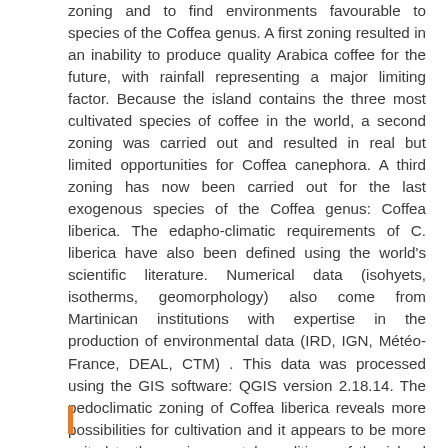zoning and to find environments favourable to species of the Coffea genus. A first zoning resulted in an inability to produce quality Arabica coffee for the future, with rainfall representing a major limiting factor. Because the island contains the three most cultivated species of coffee in the world, a second zoning was carried out and resulted in real but limited opportunities for Coffea canephora. A third zoning has now been carried out for the last exogenous species of the Coffea genus: Coffea liberica. The edapho-climatic requirements of C. liberica have also been defined using the world's scientific literature. Numerical data (isohyets, isotherms, geomorphology) also come from Martinican institutions with expertise in the production of environmental data (IRD, IGN, Météo-France, DEAL, CTM) . This data was processed using the GIS software: QGIS version 2.18.14. The pedoclimatic zoning of Coffea liberica reveals more possibilities for cultivation and it appears to be more suited to the environmental conditions of the island than Arabica and Canephora. Based on the forecasts of the National Meteorological Services for the 2071-2100 time horizon, we carried out an agro-climatic zoning showing increased possibilities for the production of this coffee in future years.
Keywords